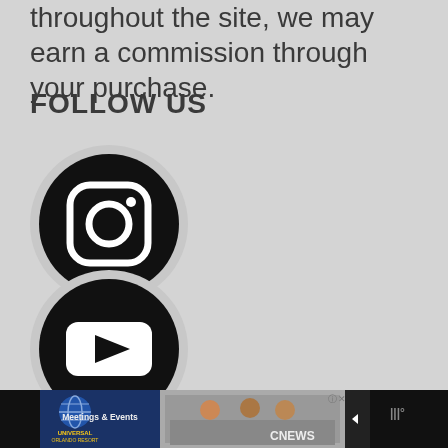throughout the site, we may earn a commission through your purchase.
FOLLOW US
[Figure (logo): Instagram logo: black circle with white Instagram camera icon]
[Figure (logo): YouTube logo: black circle with white play button icon]
[Figure (screenshot): Advertisement banner: Universal Orlando Resort Meetings & Events ad with CNBC news thumbnail and navigation controls]